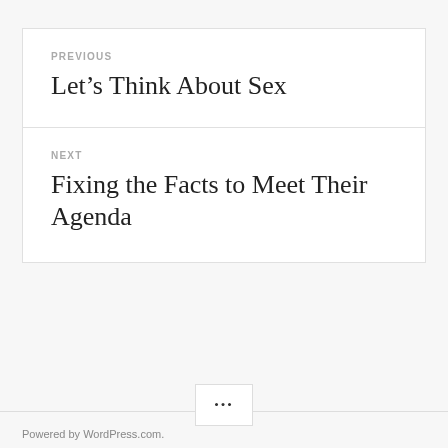PREVIOUS
Let’s Think About Sex
NEXT
Fixing the Facts to Meet Their Agenda
Powered by WordPress.com.